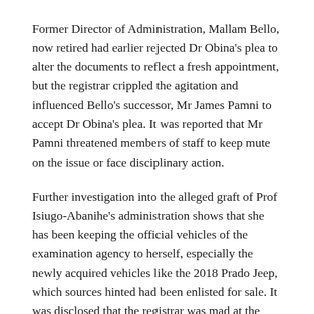Former Director of Administration, Mallam Bello, now retired had earlier rejected Dr Obina's plea to alter the documents to reflect a fresh appointment, but the registrar crippled the agitation and influenced Bello's successor, Mr James Pamni to accept Dr Obina's plea. It was reported that Mr Pamni threatened members of staff to keep mute on the issue or face disciplinary action.
Further investigation into the alleged graft of Prof Isiugo-Abanihe's administration shows that she has been keeping the official vehicles of the examination agency to herself, especially the newly acquired vehicles like the 2018 Prado Jeep, which sources hinted had been enlisted for sale. It was disclosed that the registrar was mad at the agency's officials when she discovered that the said Prado Jeep was registered in the NABTEB's name, instead of her name as personal property.